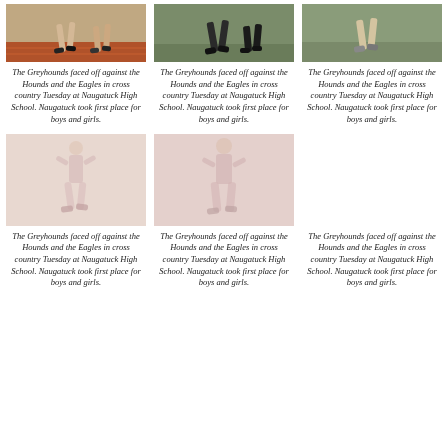[Figure (photo): Runner on red track, cropped to legs/feet]
The Greyhounds faced off against the Hounds and the Eagles in cross country Tuesday at Naugatuck High School. Naugatuck took first place for boys and girls.
[Figure (photo): Runner on path, cropped to legs, outdoor setting]
The Greyhounds faced off against the Hounds and the Eagles in cross country Tuesday at Naugatuck High School. Naugatuck took first place for boys and girls.
[Figure (photo): Runner outdoors, cropped to legs, greenery background]
The Greyhounds faced off against the Hounds and the Eagles in cross country Tuesday at Naugatuck High School. Naugatuck took first place for boys and girls.
[Figure (photo): Runner, faded/washed out photo, full figure]
The Greyhounds faced off against the Hounds and the Eagles in cross country Tuesday at Naugatuck High School. Naugatuck took first place for boys and girls.
[Figure (photo): Runner, faded/washed out photo, full figure]
The Greyhounds faced off against the Hounds and the Eagles in cross country Tuesday at Naugatuck High School. Naugatuck took first place for boys and girls.
The Greyhounds faced off against the Hounds and the Eagles in cross country Tuesday at Naugatuck High School. Naugatuck took first place for boys and girls.